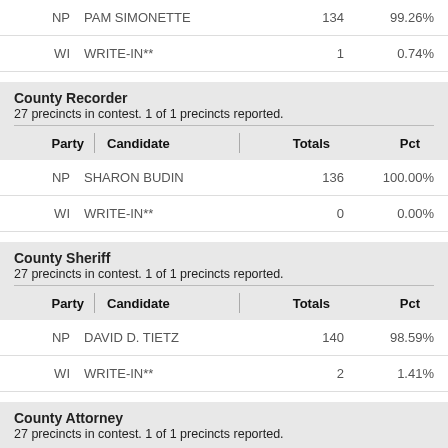| Party | Candidate | Totals | Pct |
| --- | --- | --- | --- |
| NP | PAM SIMONETTE | 134 | 99.26% |
| WI | WRITE-IN** | 1 | 0.74% |
County Recorder
27 precincts in contest. 1 of 1 precincts reported.
| Party | Candidate | Totals | Pct |
| --- | --- | --- | --- |
| NP | SHARON BUDIN | 136 | 100.00% |
| WI | WRITE-IN** | 0 | 0.00% |
County Sheriff
27 precincts in contest. 1 of 1 precincts reported.
| Party | Candidate | Totals | Pct |
| --- | --- | --- | --- |
| NP | DAVID D. TIETZ | 140 | 98.59% |
| WI | WRITE-IN** | 2 | 1.41% |
County Attorney
27 precincts in contest. 1 of 1 precincts reported.